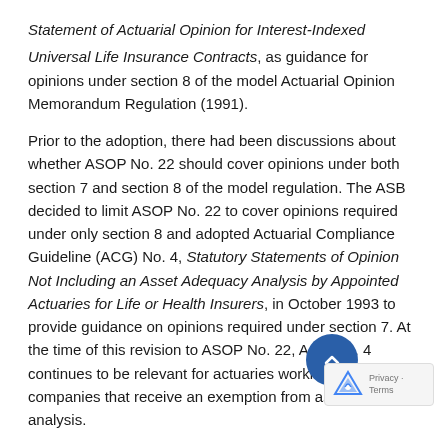Statement of Actuarial Opinion for Interest-Indexed Universal Life Insurance Contracts, as guidance for opinions under section 8 of the model Actuarial Opinion Memorandum Regulation (1991).
Prior to the adoption, there had been discussions about whether ASOP No. 22 should cover opinions under both section 7 and section 8 of the model regulation. The ASB decided to limit ASOP No. 22 to cover opinions required under only section 8 and adopted Actuarial Compliance Guideline (ACG) No. 4, Statutory Statements of Opinion Not Including an Asset Adequacy Analysis by Appointed Actuaries for Life or Health Insurers, in October 1993 to provide guidance on opinions required under section 7. At the time of this revision to ASOP No. 22, ACG No. 4 continues to be relevant for actuaries working for companies that receive an exemption from asset adequacy analysis.
In the late 1990s and early 2000s, the ASB reviewed the state of practice related to cash flow testing. Portions of ASOP No. 7, When to Do Cash Flow Testing for Life and Health Insurance